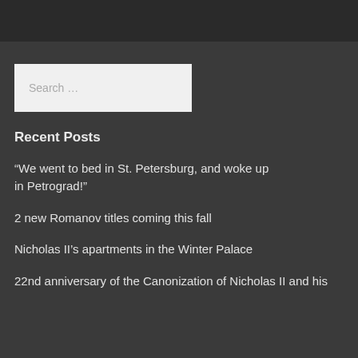Search ...
Recent Posts
“We went to bed in St. Petersburg, and woke up in Petrograd!”
2 new Romanov titles coming this fall
Nicholas II’s apartments in the Winter Palace
22nd anniversary of the Canonization of Nicholas II and his